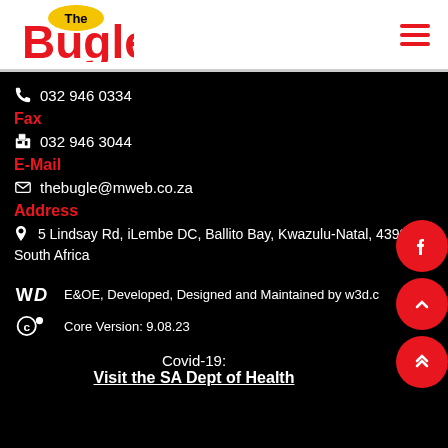The Bugle
032 946 0334
Fax
032 946 3044
E-Mail
thebugle@mweb.co.za
Address
5 Lindsay Rd, iLembe DC, Ballito Bay, Kwazulu-Natal, 4399, South Africa
E&OE, Developed, Designed and Maintained by w3d.c
Core Version: 9.08.23
Covid-19:
Visit the SA Dept of Health